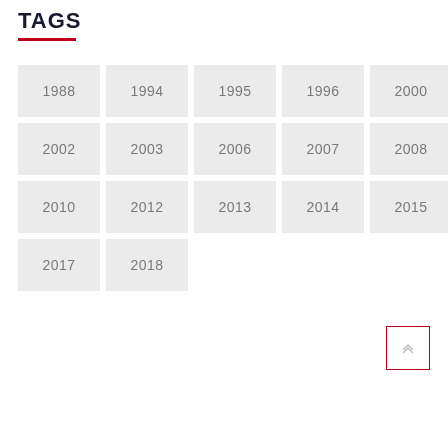TAGS
1988
1994
1995
1996
2000
2002
2003
2006
2007
2008
2010
2012
2013
2014
2015
2017
2018